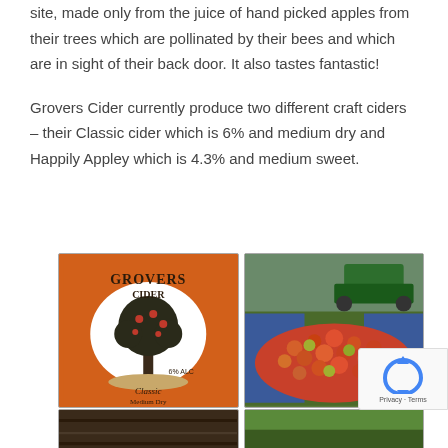site, made only from the juice of hand picked apples from their trees which are pollinated by their bees and which are in sight of their back door. It also tastes fantastic!
Grovers Cider currently produce two different craft ciders – their Classic cider which is 6% and medium dry and Happily Appley which is 4.3% and medium sweet.
[Figure (photo): Grovers Cider label – orange background with tree logo, text 'Grovers Cider Classic Medium Dry 6% ALC']
[Figure (photo): Large pile of harvested red and yellow apples on blue tarps on the ground, with a green vehicle in the background]
[Figure (photo): Partial view of a bottom image on the left – dark tones]
[Figure (photo): Partial view of a bottom image on the right – green tones]